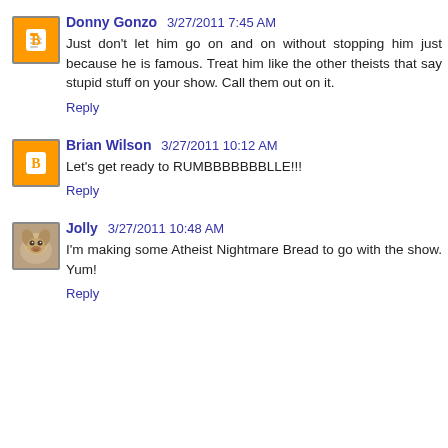Donny Gonzo 3/27/2011 7:45 AM
Just don't let him go on and on without stopping him just because he is famous. Treat him like the other theists that say stupid stuff on your show. Call them out on it.
Reply
Brian Wilson 3/27/2011 10:12 AM
Let's get ready to RUMBBBBBBBLLE!!!
Reply
Jolly 3/27/2011 10:48 AM
I'm making some Atheist Nightmare Bread to go with the show. Yum!
Reply